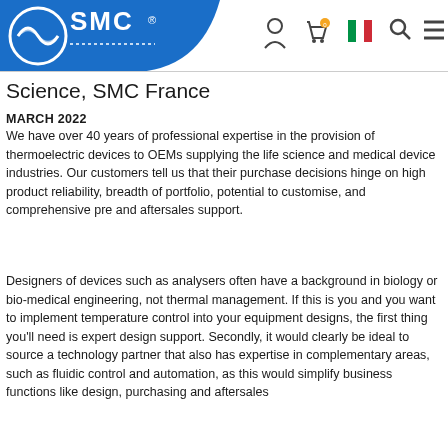SMC France - header with logo and navigation icons
Science, SMC France
MARCH 2022
We have over 40 years of professional expertise in the provision of thermoelectric devices to OEMs supplying the life science and medical device industries. Our customers tell us that their purchase decisions hinge on high product reliability, breadth of portfolio, potential to customise, and comprehensive pre and aftersales support.
Designers of devices such as analysers often have a background in biology or bio-medical engineering, not thermal management. If this is you and you want to implement temperature control into your equipment designs, the first thing you'll need is expert design support. Secondly, it would clearly be ideal to source a technology partner that also has expertise in complementary areas, such as fluidic control and automation, as this would simplify business functions like design, purchasing and aftersales